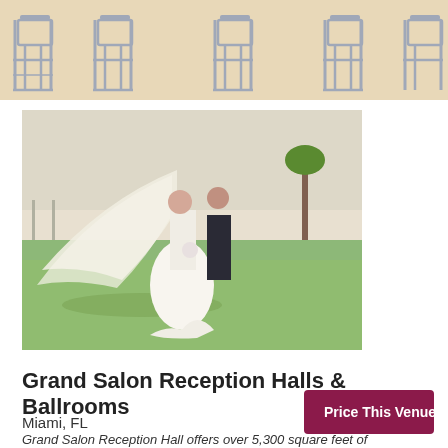[Figure (photo): Top banner showing rows of Chiavari chairs on a beige/sandy background, partial view from above]
[Figure (photo): Wedding couple on a golf course. Bride in white gown with long flowing veil billowing in the wind, groom in black tuxedo, green grass, palm trees and sky in background.]
Grand Salon Reception Halls & Ballrooms
Miami, FL
Price This Venue
Grand Salon Reception Hall offers over 5,300 square feet of